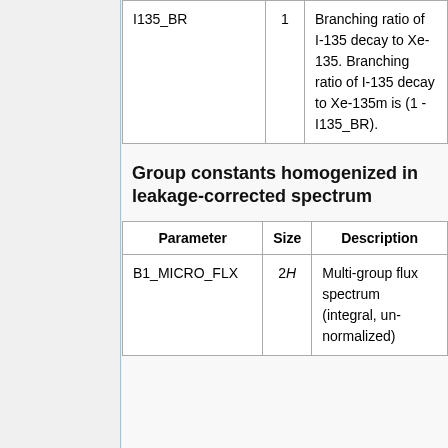| Parameter | Size | Description |
| --- | --- | --- |
| I135_BR | 1 | Branching ratio of I-135 decay to Xe-135. Branching ratio of I-135 decay to Xe-135m is (1 - I135_BR). |
Group constants homogenized in leakage-corrected spectrum
| Parameter | Size | Description |
| --- | --- | --- |
| B1_MICRO_FLX | 2H | Multi-group flux spectrum (integral, un-normalized) |